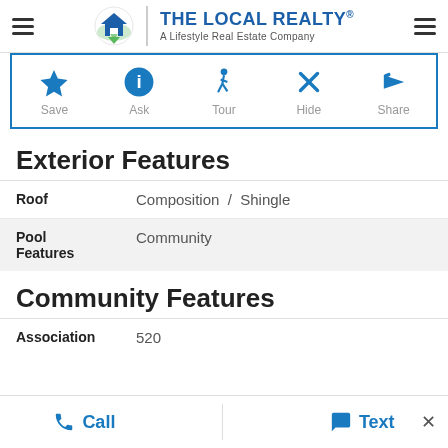[Figure (logo): The Local Realty logo with house icon — A Lifestyle Real Estate Company]
[Figure (infographic): Action bar with Save (star), Ask (info), Tour (walking person), Hide (X), Share (arrow) icons]
Exterior Features
| Feature | Value |
| --- | --- |
| Roof | Composition / Shingle |
| Pool Features | Community |
Community Features
| Feature | Value |
| --- | --- |
| Association | 520 |
Call   Text   ×